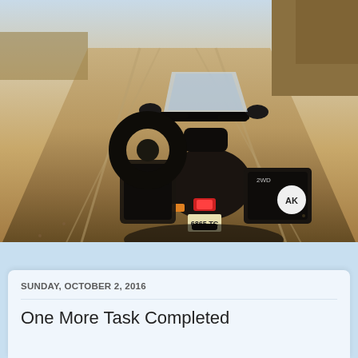[Figure (photo): Rear view of a loaded adventure motorcycle (with sidecar/luggage rack and AK sticker, license plate reading 6865 TC) parked on a dusty dirt road stretching into the distance. Sunny day, dry landscape.]
SUNDAY, OCTOBER 2, 2016
One More Task Completed